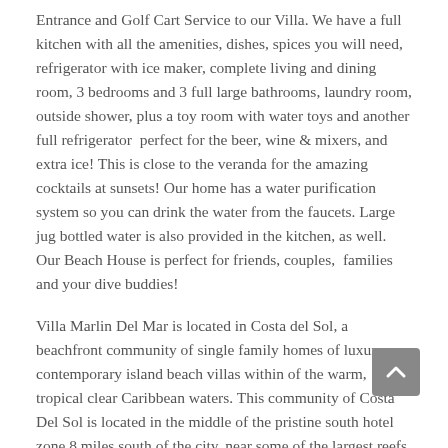Entrance and Golf Cart Service to our Villa.  We have a full kitchen with all the amenities, dishes, spices you will need, refrigerator with ice maker, complete living and dining room, 3 bedrooms and 3 full large bathrooms, laundry room, outside shower, plus a toy room with water toys and another full refrigerator  perfect for the beer, wine & mixers, and extra ice!  This is close to the veranda for the amazing cocktails at sunsets! Our home has a water purification system so you can drink the water from the faucets.  Large jug bottled water is also provided in the kitchen, as well.  Our Beach House is perfect for friends, couples,  families and your dive buddies!
Villa Marlin Del Mar is located in Costa del Sol, a beachfront community of single family homes of luxury contemporary island beach villas within of the warm, tropical clear Caribbean waters. This community of Costa Del Sol is located in the middle of the pristine south hotel zone 8 miles south of the city, near some of the largest reefs in the world. This Rental home has its own